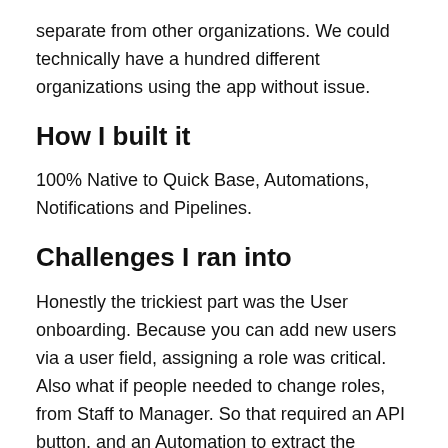separate from other organizations. We could technically have a hundred different organizations using the app without issue.
How I built it
100% Native to Quick Base, Automations, Notifications and Pipelines.
Challenges I ran into
Honestly the trickiest part was the User onboarding. Because you can add new users via a user field, assigning a role was critical. Also what if people needed to change roles, from Staff to Manager. So that required an API button, and an Automation to extract the userID into its raw text.
Another complicated thing was getting the SMS